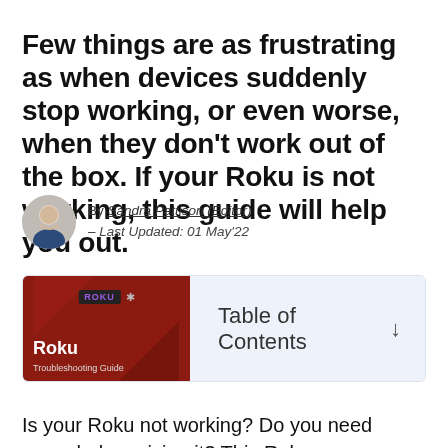Few things are as frustrating as when devices suddenly stop working, or even worse, when they don't work out of the box. If your Roku is not working, this guide will help you out.
By Sandra Pattison (Editor) – Last Updated: 01 May'22
[Figure (other): Roku Troubleshooting Guide book cover image with Table of Contents toggle]
Is your Roku not working? Do you need some help reviving it? This Roku troubleshooting guide will help you fix some of the common problems associated with both Roku streaming players and Roku remotes.